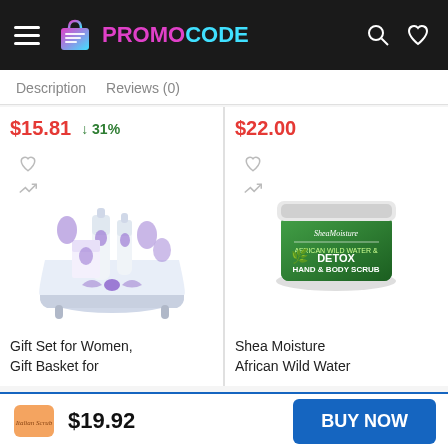PROMO CODE
Description   Reviews (0)
$15.81  ↓ 31%
$22.00
[Figure (photo): Lavender bath gift set in a mini bathtub with purple bow and lavender-scented bottles]
[Figure (photo): SheaMoisture African Wild Water Detox Hand & Body Scrub green jar]
Gift Set for Women, Gift Basket for
Shea Moisture African Wild Water
$19.92
BUY NOW